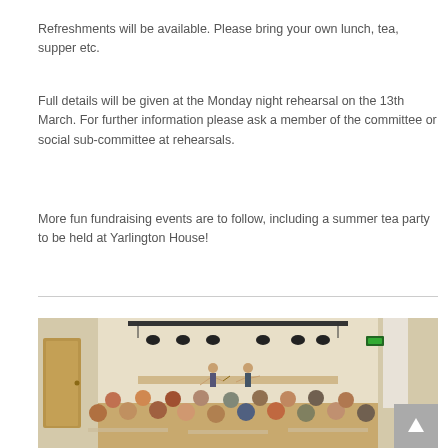Refreshments will be available. Please bring your own lunch, tea, supper etc.
Full details will be given at the Monday night rehearsal on the 13th March. For further information please ask a member of the committee or social sub-committee at rehearsals.
More fun fundraising events are to follow, including a summer tea party to be held at Yarlington House!
[Figure (photo): Indoor event/concert scene with people seated at tables in a hall, two performers on a small stage, stage lighting rig overhead, wooden door visible on left, curtains on right.]